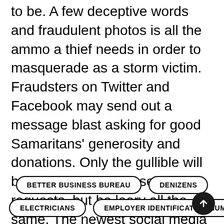to be. A few deceptive words and fraudulent photos is all the ammo a thief needs in order to masquerade as a storm victim. Fraudsters on Twitter and Facebook may send out a message blast asking for good Samaritans' generosity and donations. Only the gullible will be susceptible to these requests, but be leery all the same. The newest social media trend, crowdfunding, can now be utilized for charity purposes—and thus scammers. The protection of your identity when perusing social networks is dependent upon exercising judiciousness.
BETTER BUSINESS BUREAU
DENIZENS
ELECTRICIANS
EMPLOYER IDENTIFICATION NUMBER